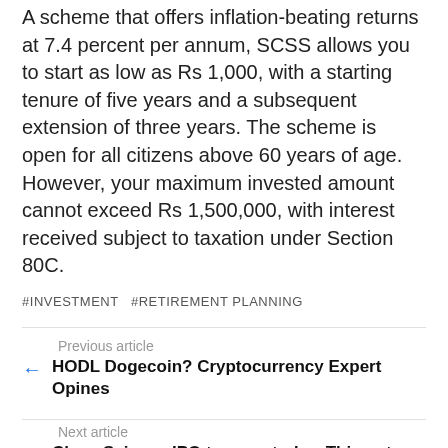A scheme that offers inflation-beating returns at 7.4 percent per annum, SCSS allows you to start as low as Rs 1,000, with a starting tenure of five years and a subsequent extension of three years. The scheme is open for all citizens above 60 years of age. However, your maximum invested amount cannot exceed Rs 1,500,000, with interest received subject to taxation under Section 80C.
#INVESTMENT  #RETIREMENT PLANNING
Previous article
HODL Dogecoin? Cryptocurrency Expert Opines
Next article
Clean Science IPO to open today. Things to know before you subscribe